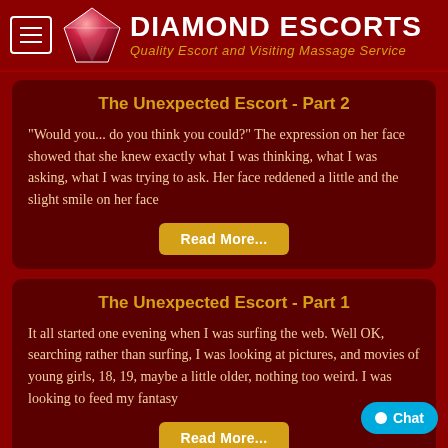Diamond Escorts — Quality Escort and Visiting Massage Service
The Unexpected Escort - Part 2
"Would you... do you think you could?" The expression on her face showed that she knew exactly what I was thinking, what I was asking, what I was trying to ask. Her face reddened a little and the slight smile on her face
Read More...
The Unexpected Escort - Part 1
It all started one evening when I was surfing the web. Well OK, searching rather than surfing, I was looking at pictures, and movies of young girls, 18, 19, maybe a little older, nothing too weird. I was looking to feed my fantasy
Read More...